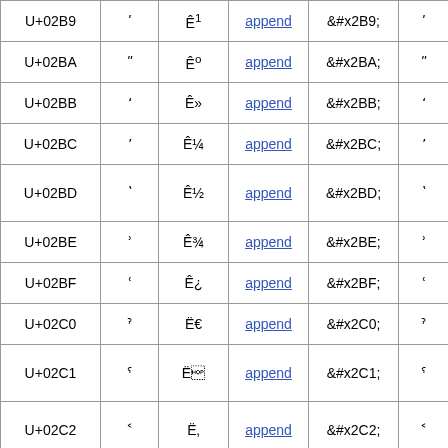| Code | Char | Encoding | Action | HTML Entity | Char |
| --- | --- | --- | --- | --- | --- |
| U+02B9 | ʹ | Ê¹ | append | &#x2B9; | ' |
| U+02BA | " | Êº | append | &#x2BA; | " |
| U+02BB | ʻ | Ê» | append | &#x2BB; | ʻ |
| U+02BC | ʼ | Ê¼ | append | &#x2BC; | ʼ |
| U+02BD | ʽ | Ê½ | append | &#x2BD; | ʽ |
| U+02BE | ʾ | Ê¾ | append | &#x2BE; | ʾ |
| U+02BF | ʿ | Ê¿ | append | &#x2BF; | ʿ |
| U+02C0 | ˀ | Ë | append | &#x2C0; | ˀ |
| U+02C1 | ˁ | Ë | append | &#x2C1; | ˁ |
| U+02C2 | ˂ | Ë | append | &#x2C2; | ˂ |